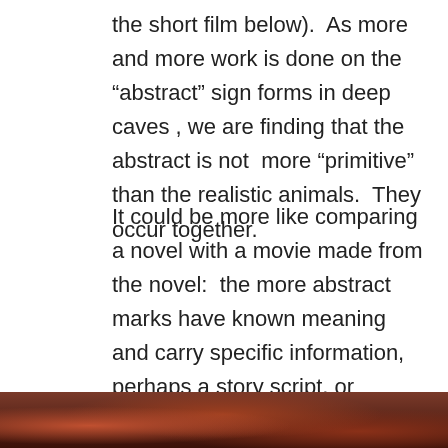the short film below).  As more and more work is done on the “abstract” sign forms in deep caves , we are finding that the abstract is not  more “primitive” than the realistic animals.  They occur together.
It could be more like comparing a novel with a movie made from the novel:  the more abstract marks have known meaning and carry specific information, perhaps a story script, or “credits” with location, authors, and events,  while the beautiful animals are the movie itself.  Books and movies do not exclude each other, but enhance each other.
[Figure (photo): Bottom portion of a photo showing reddish-brown cave art or animal imagery, partially visible at the bottom edge of the page.]